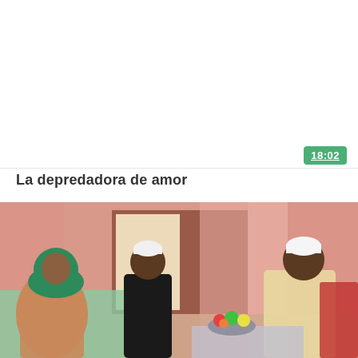[Figure (photo): White blank area representing the top portion of a video thumbnail or page area]
18:02
La depredadora de amor
[Figure (photo): Photo of three people in a room with pink curtains. On the left a woman wearing a green hijab and colorful dress. In the center a person wearing a black outfit and white kufi cap. On the right a man in a white robe sitting and smiling. There is a table with flowers in front of them.]